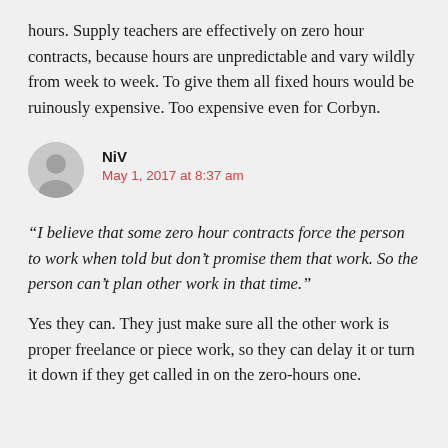hours. Supply teachers are effectively on zero hour contracts, because hours are unpredictable and vary wildly from week to week. To give them all fixed hours would be ruinously expensive. Too expensive even for Corbyn.
NiV
May 1, 2017 at 8:37 am
“I believe that some zero hour contracts force the person to work when told but don’t promise them that work. So the person can’t plan other work in that time.”
Yes they can. They just make sure all the other work is proper freelance or piece work, so they can delay it or turn it down if they get called in on the zero-hours one.